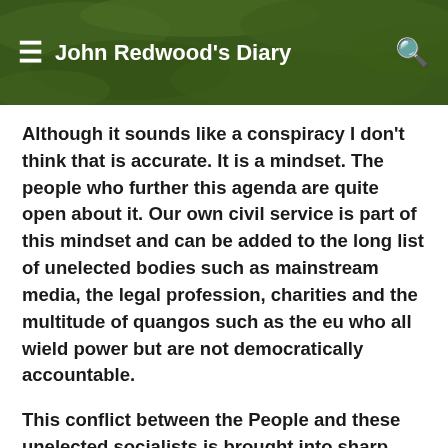John Redwood's Diary
Although it sounds like a conspiracy I don't think that is accurate. It is a mindset. The people who further this agenda are quite open about it. Our own civil service is part of this mindset and can be added to the long list of unelected bodies such as mainstream media, the legal profession, charities and the multitude of quangos such as the eu who all wield power but are not democratically accountable.
This conflict between the People and these unelected socialists is brought into sharp focus by 2 sets of numbers: the elected government aspires to dramatically reduce immigration in line with the wishes of the People while our civil services plans to maintain very high immigration.
Rather than see this contradiction the BBC could be the...